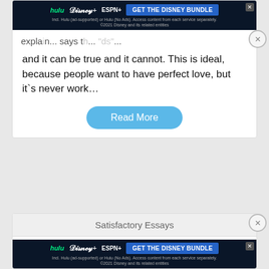[Figure (screenshot): Disney Bundle advertisement banner with Hulu, Disney+, ESPN+ logos and GET THE DISNEY BUNDLE CTA button]
and it can be true and it cannot. This is ideal, because people want to have perfect love, but it`s never work…
Read More
Satisfactory Essays
sonnet
188 Words
1 Page
that guard the truth Mesmerize glance in bushes hide
REAC... incredible... lines that can attract people which is very romantic and
[Figure (screenshot): Disney Bundle advertisement banner at bottom with Hulu, Disney+, ESPN+ logos and GET THE DISNEY BUNDLE CTA button]